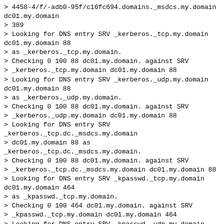> 4458-4/f/-adb0-95f/c16fc694.domains._msdcs.my.domain dc01.my.domain
> 389
> Looking for DNS entry SRV _kerberos._tcp.my.domain dc01.my.domain 88
> as _kerberos._tcp.my.domain.
> Checking 0 100 88 dc01.my.domain. against SRV
> _kerberos._tcp.my.domain dc01.my.domain 88
> Looking for DNS entry SRV _kerberos._udp.my.domain dc01.my.domain 88
> as _kerberos._udp.my.domain.
> Checking 0 100 88 dc01.my.domain. against SRV
> _kerberos._udp.my.domain dc01.my.domain 88
> Looking for DNS entry SRV _kerberos._tcp.dc._msdcs.my.domain
> dc01.my.domain 88 as _kerberos._tcp.dc._msdcs.my.domain.
> Checking 0 100 88 dc01.my.domain. against SRV
> _kerberos._tcp.dc._msdcs.my.domain dc01.my.domain 88
> Looking for DNS entry SRV _kpasswd._tcp.my.domain dc01.my.domain 464
> as _kpasswd._tcp.my.domain.
> Checking 0 100 464 dc01.my.domain. against SRV
> _kpasswd._tcp.my.domain dc01.my.domain 464
> Looking for DNS entry SRV _kpasswd._udp.my.domain dc01.my.domain 464
> as _kpasswd._udp.my.domain.
> Checking 0 100 464 dc01.my.domain. against SRV
> _kpasswd._udp.my.domain dc01.my.domain 464
> Looking for DNS entry SRV